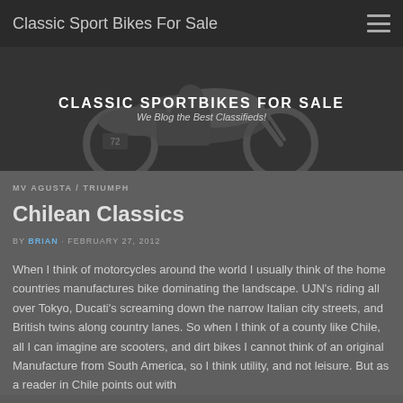Classic Sport Bikes For Sale
[Figure (illustration): Classic Sportbikes For Sale banner with motorcycle silhouette. Text: CLASSIC SPORTBIKES FOR SALE / We Blog the Best Classifieds!]
MV AGUSTA / TRIUMPH
Chilean Classics
BY BRIAN · FEBRUARY 27, 2012
When I think of motorcycles around the world I usually think of the home countries manufactures bike dominating the landscape. UJN's riding all over Tokyo, Ducati's screaming down the narrow Italian city streets, and British twins along country lanes. So when I think of a county like Chile, all I can imagine are scooters, and dirt bikes I cannot think of an original Manufacture from South America, so I think utility, and not leisure. But as a reader in Chile points out with